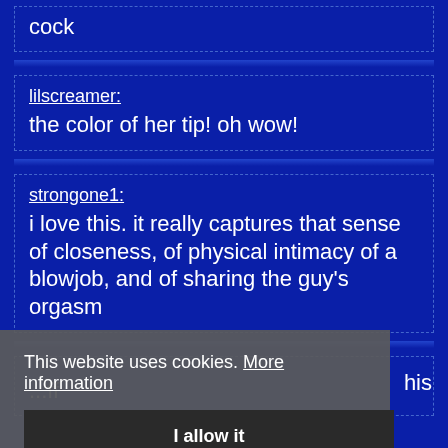cock
lilscreamer: the color of her tip! oh wow!
strongone1: i love this. it really captures that sense of closeness, of physical intimacy of a blowjob, and of sharing the guy's orgasm
This website uses cookies. More information | I allow it
alphacanybody: